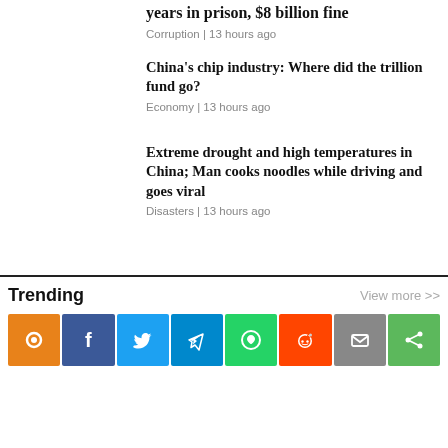years in prison, $8 billion fine
Corruption | 13 hours ago
China’s chip industry: Where did the trillion fund go?
Economy | 13 hours ago
Extreme drought and high temperatures in China; Man cooks noodles while driving and goes viral
Disasters | 13 hours ago
Trending
View more >>
[Figure (infographic): Social sharing icons bar: Pingback (orange), Facebook (dark blue), Twitter (blue), Telegram (light blue), WhatsApp (green), Reddit (orange-red), Email (gray), Share (green)]